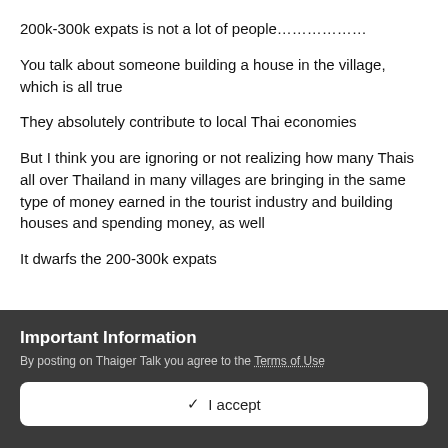200k-300k expats is not a lot of people…………….
You talk about someone building a house in the village, which is all true
They absolutely contribute to local Thai economies
But I think you are ignoring or not realizing how many Thais all over Thailand in many villages are bringing in the same type of money earned in the tourist industry and building houses and spending money, as well
It dwarfs the 200-300k expats
Important Information
By posting on Thaiger Talk you agree to the Terms of Use
✓  I accept